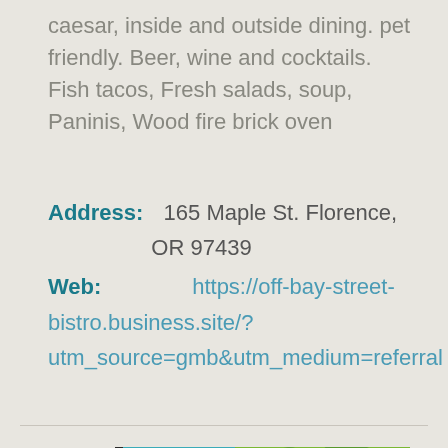caesar, inside and outside dining. pet friendly. Beer, wine and cocktails. Fish tacos, Fresh salads, soup, Paninis, Wood fire brick oven
Address:   165 Maple St. Florence, OR 97439
Web:         https://off-bay-street-bistro.business.site/?utm_source=gmb&utm_medium=referral
[Figure (photo): Photo showing green apples and leafy greens with a partial logo reading SILA at the bottom, framed with a teal/turquoise border]